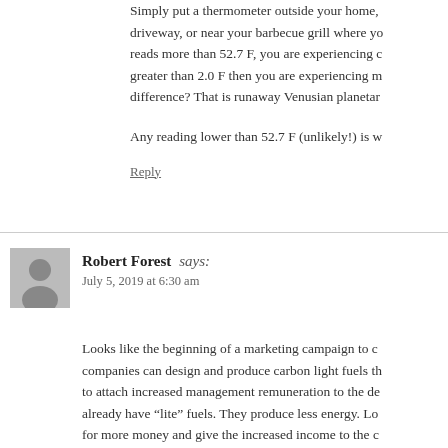Simply put a thermometer outside your home, driveway, or near your barbecue grill where yo reads more than 52.7 F, you are experiencing c greater than 2.0 F then you are experiencing m difference? That is runaway Venusian planetar
Any reading lower than 52.7 F (unlikely!) is w
Reply
Robert Forest says:
July 5, 2019 at 6:30 am
Looks like the beginning of a marketing campaign to c companies can design and produce carbon light fuels th to attach increased management remuneration to the de already have “lite” fuels. They produce less energy. Lo for more money and give the increased income to the c them for their heroism. The propaganda begins.